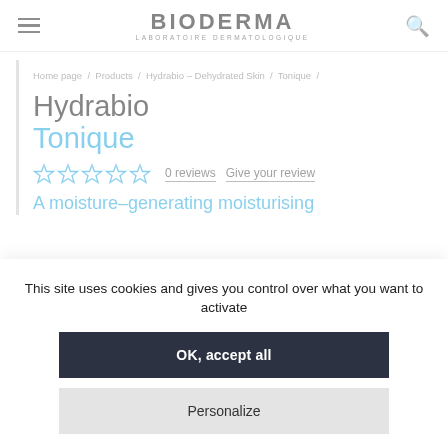BIODERMA LABORATOIRE DERMATOLOGIQUE
Home page / Products / Hydrabio – Dehydrated Skin / Tonique /
Hydrabio Tonique
0 reviews  Give your review
A moisture-generating moisturising
This site uses cookies and gives you control over what you want to activate
OK, accept all
Personalize